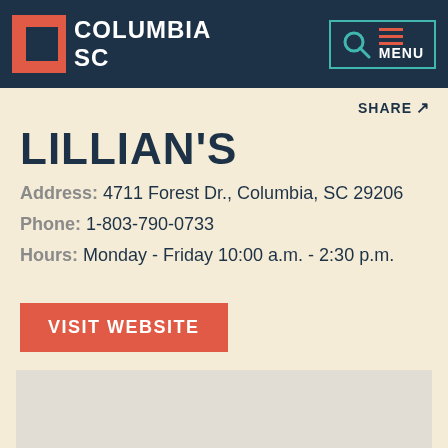[Figure (logo): Columbia SC city logo with red C-bracket icon and white text reading COLUMBIA SC on dark navy background, with teal-bordered search and menu navigation box]
SHARE ↗
LILLIAN'S
Address: 4711 Forest Dr., Columbia, SC 29206
Phone: 1-803-790-0733
Hours: Monday - Friday 10:00 a.m. - 2:30 p.m.
VISIT WEBSITE
[Figure (map): Partial map preview at bottom of page]